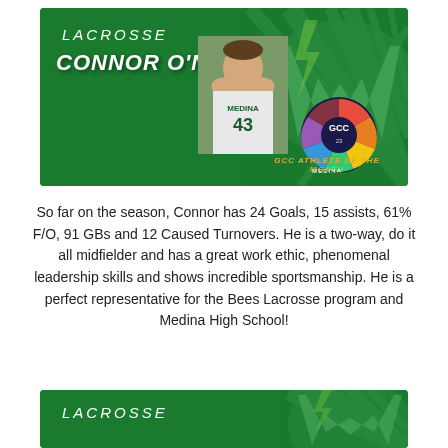[Figure (photo): Green banner graphic for Medina Lacrosse featuring Connor O'Neill as GCC Athlete of the Month, with athlete photo and badge]
So far on the season, Connor has 24 Goals, 15 assists, 61% F/O, 91 GBs and 12 Caused Turnovers. He is a two-way, do it all midfielder and has a great work ethic, phenomenal leadership skills and shows incredible sportsmanship. He is a perfect representative for the Bees Lacrosse program and Medina High School!
[Figure (photo): Second green banner graphic for Medina Lacrosse showing partial banner with LACROSSE text]